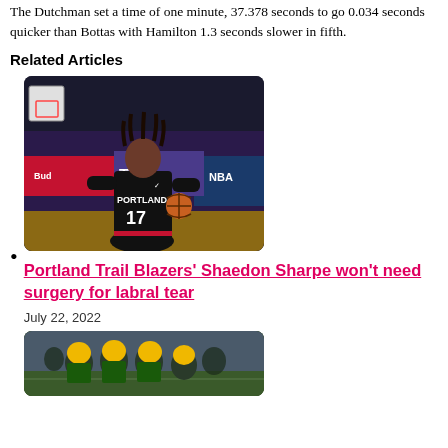The Dutchman set a time of one minute, 37.378 seconds to go 0.034 seconds quicker than Bottas with Hamilton 1.3 seconds slower in fifth.
Related Articles
Portland Trail Blazers’ Shaedon Sharpe won’t need surgery for labral tear
July 22, 2022
[Figure (photo): Portland Trail Blazers player Shaedon Sharpe (#17) in a black uniform dribbling a basketball on the court]
[Figure (photo): Green Bay Packers football players in yellow helmets on a field]